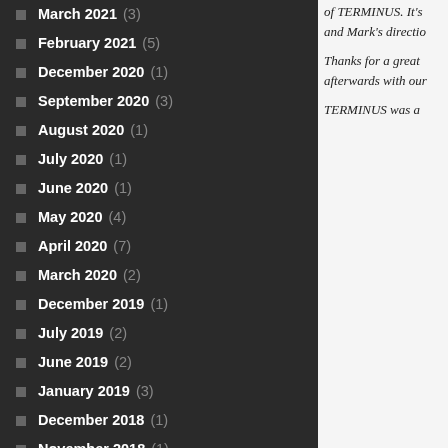March 2021 (3)
February 2021 (5)
December 2020 (1)
September 2020 (3)
August 2020 (1)
July 2020 (1)
June 2020 (1)
May 2020 (4)
April 2020 (7)
March 2020 (2)
December 2019 (1)
July 2019 (2)
June 2019 (2)
January 2019 (3)
December 2018 (1)
November 2018 (1)
October 2018 (3)
February 2018 (1)
January 2018 (1)
December 2017 (1)
July 2017 (1)
April 2017 (2)
March 2017 (1)
of TERMINUS. It's and Mark's directio
Thanks for a great afterwards with our
TERMINUS was a
Tickets can b
C